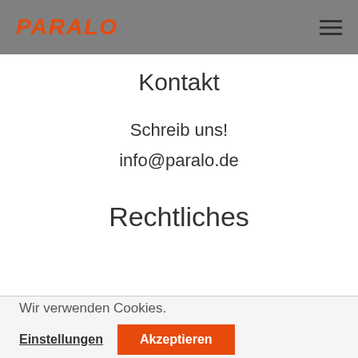PARALO
Kontakt
Schreib uns!
info@paralo.de
Rechtliches
Wir verwenden Cookies.
Einstellungen
Akzeptieren